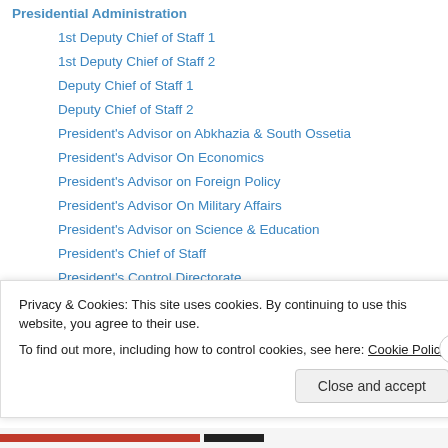Presidential Administration
1st Deputy Chief of Staff 1
1st Deputy Chief of Staff 2
Deputy Chief of Staff 1
Deputy Chief of Staff 2
President's Advisor on Abkhazia & South Ossetia
President's Advisor On Economics
President's Advisor on Foreign Policy
President's Advisor On Military Affairs
President's Advisor on Science & Education
President's Chief of Staff
President's Control Directorate
President's Press Secretary
President's Security Detail
Privacy & Cookies: This site uses cookies. By continuing to use this website, you agree to their use.
To find out more, including how to control cookies, see here: Cookie Policy